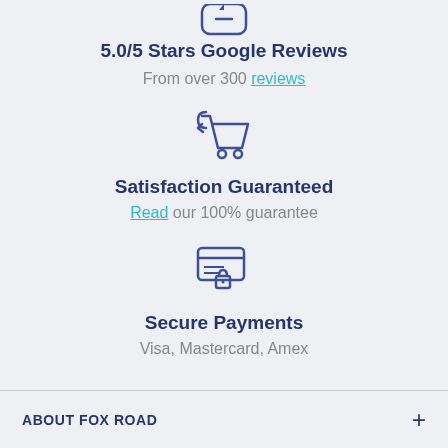[Figure (illustration): Shopping cart with return arrow icon]
5.0/5 Stars Google Reviews
From over 300 reviews
[Figure (illustration): Shopping cart with return arrow icon]
Satisfaction Guaranteed
Read our 100% guarantee
[Figure (illustration): Secure credit card / payment icon with lock]
Secure Payments
Visa, Mastercard, Amex
ABOUT FOX ROAD